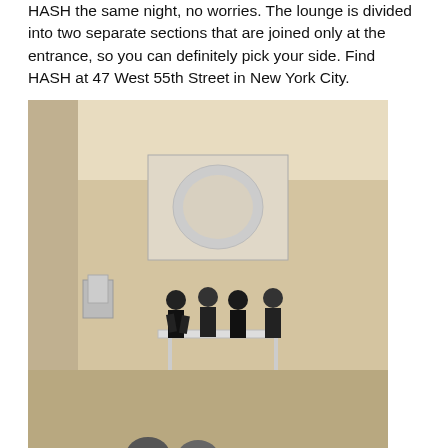HASH the same night, no worries. The lounge is divided into two separate sections that are joined only at the entrance, so you can definitely pick your side. Find HASH at 47 West 55th Street in New York City.
[Figure (photo): Indoor venue/gallery scene with people standing around a table, projection screen on wall showing a circular image, gallery artwork on walls.]
EXPERIENCE. For all you NYC Divas who want to recapture your youthful love for peanut butter, check out this “nutty” little spot in little Italy: The Nutropolitan Museum of Art, sponsored by Peanut Butter & Co. and the National Peanut Board. Luxe Gal loved the iconic lunch boxes and peanut-themed knickknacks that were on display at the opening party Thursday night, and fell in love with Peanut Butter & Co.’s White Chocolate Wonderful PB! We guarantee that this place won’t stick to the roof of your mouth, but will find a sweet nostalgic place in your